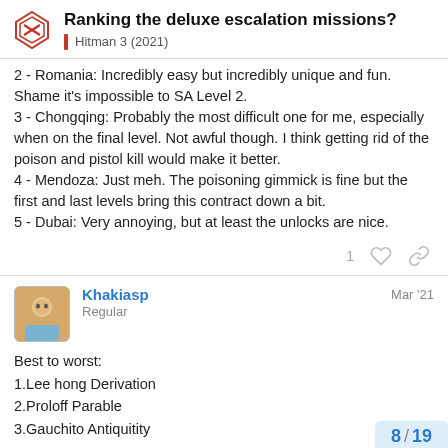Ranking the deluxe escalation missions? | Hitman 3 (2021)
2 - Romania: Incredibly easy but incredibly unique and fun. Shame it's impossible to SA Level 2.
3 - Chongqing: Probably the most difficult one for me, especially when on the final level. Not awful though. I think getting rid of the poison and pistol kill would make it better.
4 - Mendoza: Just meh. The poisoning gimmick is fine but the first and last levels bring this contract down a bit.
5 - Dubai: Very annoying, but at least the unlocks are nice.
Khakiasp
Regular
Mar '21
Best to worst:
1.Lee hong Derivation
2.Proloff Parable
3.Gauchito Antiquitity
8 / 19